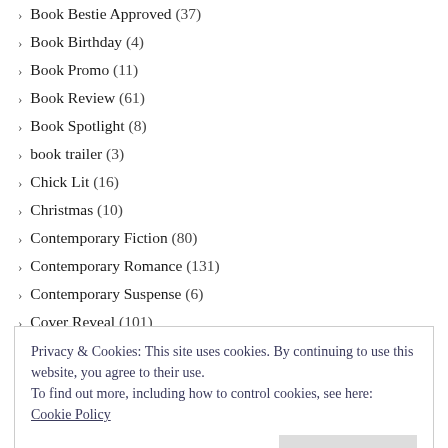Book Bestie Approved (37)
Book Birthday (4)
Book Promo (11)
Book Review (61)
Book Spotlight (8)
book trailer (3)
Chick Lit (16)
Christmas (10)
Contemporary Fiction (80)
Contemporary Romance (131)
Contemporary Suspense (6)
Cover Reveal (101)
Crime Thriller (25)
Domestic Drama (5)
Domestic Thriller (10)
Privacy & Cookies: This site uses cookies. By continuing to use this website, you agree to their use.
To find out more, including how to control cookies, see here:
Cookie Policy
Close and accept
Historical Fiction (18)